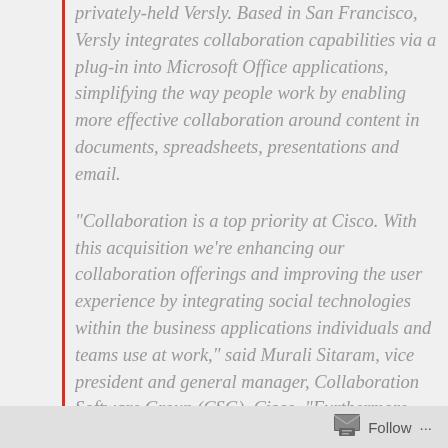privately-held Versly. Based in San Francisco, Versly integrates collaboration capabilities via a plug-in into Microsoft Office applications, simplifying the way people work by enabling more effective collaboration around content in documents, spreadsheets, presentations and email.
“Collaboration is a top priority at Cisco. With this acquisition we’re enhancing our collaboration offerings and improving the user experience by integrating social technologies within the business applications individuals and teams use at work,” said Murali Sitaram, vice president and general manager, Collaboration Software Group (CSG), Cisco. “Furthermore, the integration with Versly will drive productivity improvements for organizations and their knowledge workers.
Follow ...